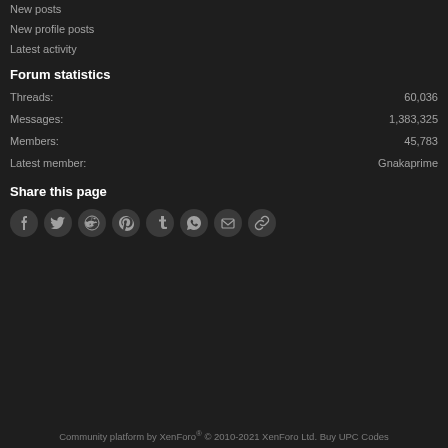New posts
New profile posts
Latest activity
Forum statistics
Threads: 60,036
Messages: 1,383,325
Members: 45,783
Latest member: Gnakaprime
Share this page
[Figure (other): Social share icons: Facebook, Twitter, Reddit, Pinterest, Tumblr, WhatsApp, Email, Link]
Community platform by XenForo® © 2010-2021 XenForo Ltd. Buy UPC Codes